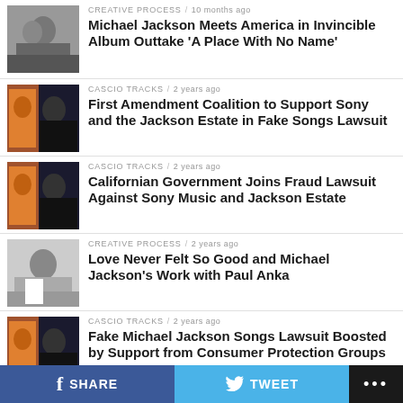[Figure (photo): Black and white photo of Michael Jackson and a woman outdoors]
CREATIVE PROCESS / 10 months ago
Michael Jackson Meets America in Invincible Album Outtake 'A Place With No Name'
[Figure (photo): Colorful photo with Michael Jackson and crowd]
CASCIO TRACKS / 2 years ago
First Amendment Coalition to Support Sony and the Jackson Estate in Fake Songs Lawsuit
[Figure (photo): Colorful photo with Michael Jackson and crowd]
CASCIO TRACKS / 2 years ago
Californian Government Joins Fraud Lawsuit Against Sony Music and Jackson Estate
[Figure (photo): Black and white photo of Michael Jackson]
CREATIVE PROCESS / 2 years ago
Love Never Felt So Good and Michael Jackson's Work with Paul Anka
[Figure (photo): Colorful photo with Michael Jackson and crowd]
CASCIO TRACKS / 2 years ago
Fake Michael Jackson Songs Lawsuit Boosted by Support from Consumer Protection Groups
SHARE   TWEET   ...